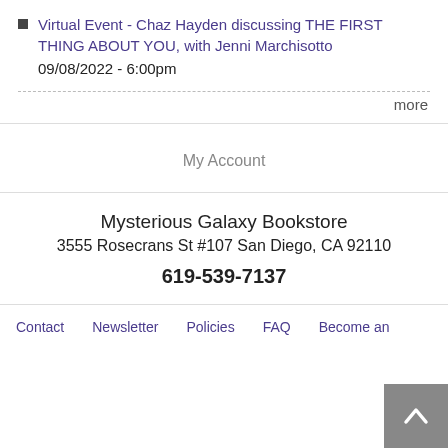Virtual Event - Chaz Hayden discussing THE FIRST THING ABOUT YOU, with Jenni Marchisotto
09/08/2022 - 6:00pm
more
My Account
Mysterious Galaxy Bookstore
3555 Rosecrans St #107 San Diego, CA 92110
619-539-7137
Contact   Newsletter   Policies   FAQ   Become an